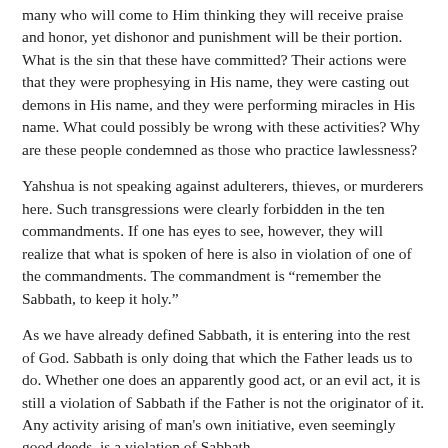many who will come to Him thinking they will receive praise and honor, yet dishonor and punishment will be their portion. What is the sin that these have committed? Their actions were that they were prophesying in His name, they were casting out demons in His name, and they were performing miracles in His name. What could possibly be wrong with these activities? Why are these people condemned as those who practice lawlessness?
Yahshua is not speaking against adulterers, thieves, or murderers here. Such transgressions were clearly forbidden in the ten commandments. If one has eyes to see, however, they will realize that what is spoken of here is also in violation of one of the commandments. The commandment is “remember the Sabbath, to keep it holy.”
As we have already defined Sabbath, it is entering into the rest of God. Sabbath is only doing that which the Father leads us to do. Whether one does an apparently good act, or an evil act, it is still a violation of Sabbath if the Father is not the originator of it. Any activity arising of man's own initiative, even seemingly good deeds, is a violation of Sabbath.